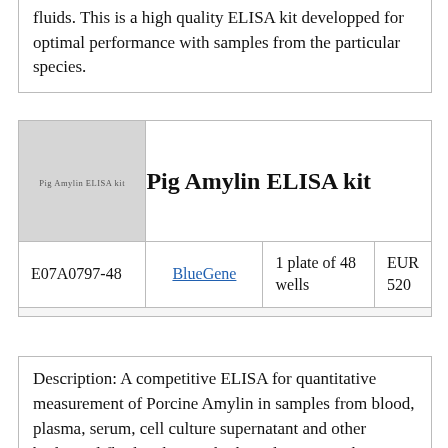fluids. This is a high quality ELISA kit developped for optimal performance with samples from the particular species.
| [image] | Pig Amylin ELISA kit |  |  |
| --- | --- | --- | --- |
| E07A0797-48 | BlueGene | 1 plate of 48 wells | EUR 520 |
Description: A competitive ELISA for quantitative measurement of Porcine Amylin in samples from blood, plasma, serum, cell culture supernatant and other biological fluids. This is a high quality ELISA kit